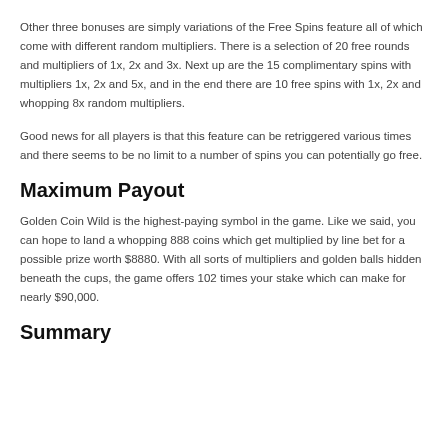Other three bonuses are simply variations of the Free Spins feature all of which come with different random multipliers. There is a selection of 20 free rounds and multipliers of 1x, 2x and 3x. Next up are the 15 complimentary spins with multipliers 1x, 2x and 5x, and in the end there are 10 free spins with 1x, 2x and whopping 8x random multipliers.
Good news for all players is that this feature can be retriggered various times and there seems to be no limit to a number of spins you can potentially go free.
Maximum Payout
Golden Coin Wild is the highest-paying symbol in the game. Like we said, you can hope to land a whopping 888 coins which get multiplied by line bet for a possible prize worth $8880. With all sorts of multipliers and golden balls hidden beneath the cups, the game offers 102 times your stake which can make for nearly $90,000.
Summary